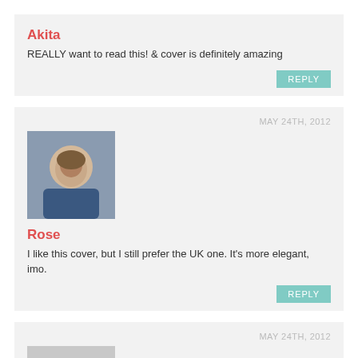Akita
REALLY want to read this! & cover is definitely amazing
REPLY
MAY 24TH, 2012
[Figure (photo): Avatar photo of Rose, a young woman]
Rose
I like this cover, but I still prefer the UK one. It's more elegant, imo.
REPLY
MAY 24TH, 2012
[Figure (photo): Generic gray avatar placeholder silhouette]
Abigail Bunting
I love this cover, and I really really want to read this book!